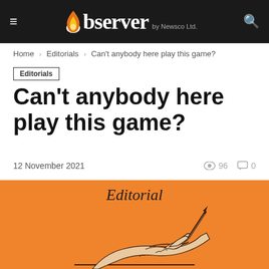Observer by Newsco Ltd.
Home > Editorials > Can't anybody here play this game?
Editorials
Can't anybody here play this game?
12 November 2021   👁 96  💬 0
[Figure (illustration): Orange background editorial illustration showing a hand writing with a pen on paper, with the word 'Editorial' in italic serif font at the top.]